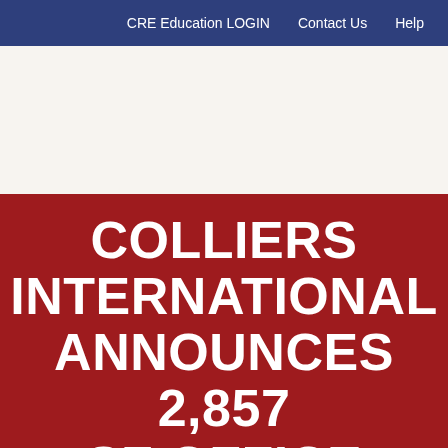CRE Education LOGIN   Contact Us   Help
COLLIERS INTERNATIONAL ANNOUNCES 2,857 SF OFFICE LEASE IN